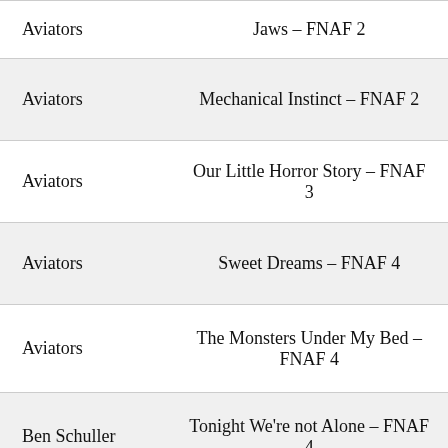| Artist | Song |
| --- | --- |
| Aviators | Jaws – FNAF 2 |
| Aviators | Mechanical Instinct – FNAF 2 |
| Aviators | Our Little Horror Story – FNAF 3 |
| Aviators | Sweet Dreams – FNAF 4 |
| Aviators | The Monsters Under My Bed – FNAF 4 |
| Ben Schuller | Tonight We're not Alone – FNAF 4 |
| CG5 | Crawling – FNAF 5 |